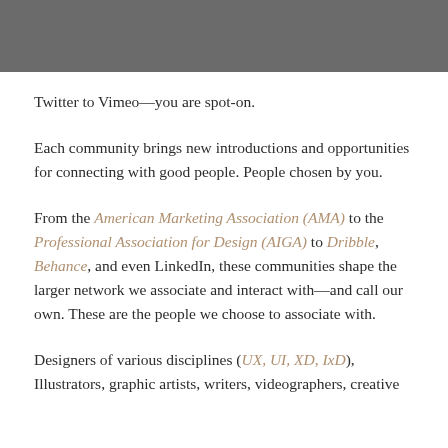[Figure (other): Dark gray header banner at top of page]
Twitter to Vimeo—you are spot-on.
Each community brings new introductions and opportunities for connecting with good people. People chosen by you.
From the American Marketing Association (AMA) to the Professional Association for Design (AIGA) to Dribble, Behance, and even LinkedIn, these communities shape the larger network we associate and interact with—and call our own. These are the people we choose to associate with.
Designers of various disciplines (UX, UI, XD, IxD), Illustrators, graphic artists, writers, videographers, creative...